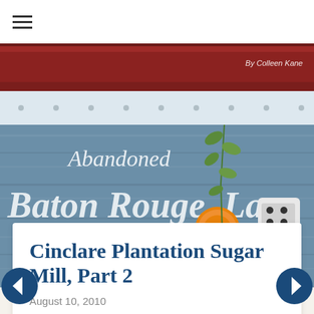☰
[Figure (photo): Photo of an abandoned building with painted signage reading 'Abandoned Baton Rouge La.' on weathered blue wooden panels, with a red top section. A plant vine grows up the surface. An orange reflector and a white electrical fixture are visible. Credit: By Colleen Kane.]
Cinclare Plantation Sugar Mill, Part 2
August 10, 2010